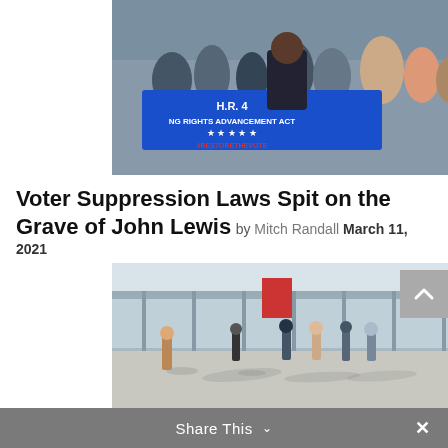[Figure (photo): A speaker stands at a podium in front of a sign reading 'H.R. 4 Voting Rights Advancement Act' with stars and '#RestoreTheVote']
Voter Suppression Laws Spit on the Grave of John Lewis by Mitch Randall March 11, 2021
[Figure (photo): People wearing masks walk across an outdoor border crossing area, casting long shadows, with a border station visible in the background]
Faith Groups React to SCOTUS Ruling on 'Remain in Mexico'... by Zach Dawes Jr July 1, 2022
Share This ∨  ×